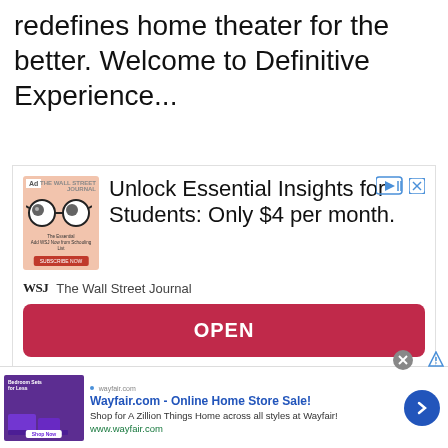redefines home theater for the better. Welcome to Definitive Experience...
[Figure (screenshot): Advertisement banner for The Wall Street Journal student subscription: 'Unlock Essential Insights for Students: Only $4 per month.' with WSJ logo and OPEN button]
[Figure (screenshot): Advertisement banner for Wayfair.com - Online Home Store Sale: 'Shop for A Zillion Things Home across all styles at Wayfair!' with www.wayfair.com URL]